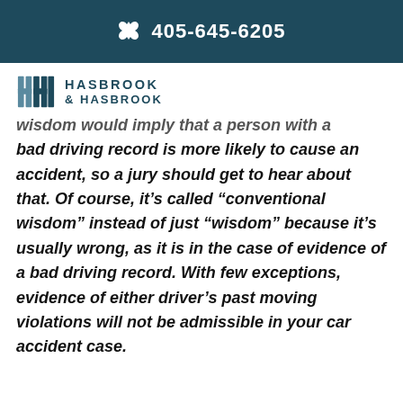405-645-6205
[Figure (logo): Hasbrook & Hasbrook law firm logo with stylized HH monogram in teal/blue]
wisdom would imply that a person with a bad driving record is more likely to cause an accident, so a jury should get to hear about that. Of course, it’s called “conventional wisdom” instead of just “wisdom” because it’s usually wrong, as it is in the case of evidence of a bad driving record. With few exceptions, evidence of either driver’s past moving violations will not be admissible in your car accident case.